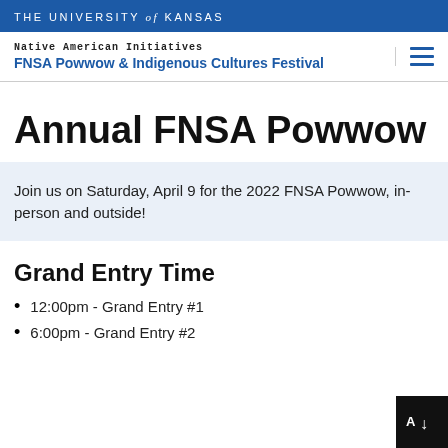THE UNIVERSITY of KANSAS
Native American Initiatives
FNSA Powwow & Indigenous Cultures Festival
Annual FNSA Powwow
Join us on Saturday, April 9 for the 2022 FNSA Powwow, in-person and outside!
Grand Entry Time
12:00pm - Grand Entry #1
6:00pm - Grand Entry #2